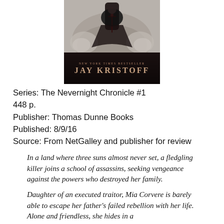[Figure (illustration): Book cover image for Nevernight by Jay Kristoff, showing a dark figure with a sword, stone sculptural background, on a black lower section with 'NEW YORK TIMES BESTSELLER' and 'JAY KRISTOFF' in stylized text]
Series: The Nevernight Chronicle #1
448 p.
Publisher: Thomas Dunne Books
Published: 8/9/16
Source: From NetGalley and publisher for review
In a land where three suns almost never set, a fledgling killer joins a school of assassins, seeking vengeance against the powers who destroyed her family.
Daughter of an executed traitor, Mia Corvere is barely able to escape her father's failed rebellion with her life. Alone and friendless, she hides in a